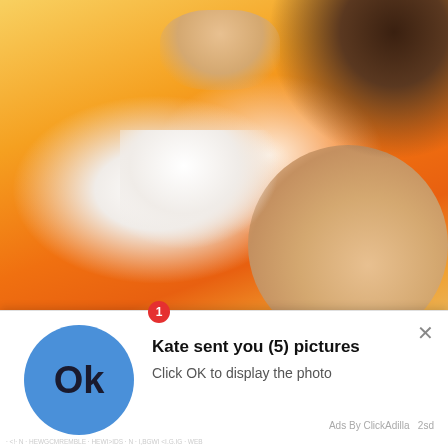[Figure (photo): Photo of a person wearing an orange and yellow top, close-up shot with watermark 'TUNORTAR' in bottom right corner]
Kate sent you (5) pictures
Click OK to display the photo
Ads By ClickAdilla  2sd